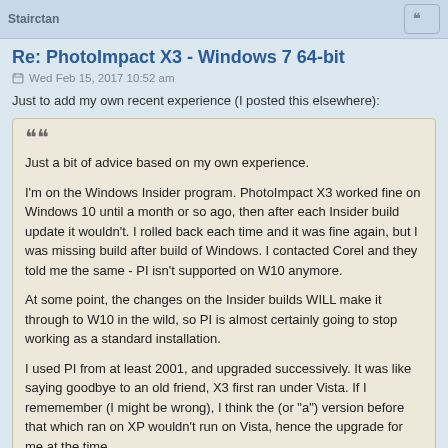Stairctan
Re: PhotoImpact X3 - Windows 7 64-bit
Wed Feb 15, 2017 10:52 am
Just to add my own recent experience (I posted this elsewhere):
Just a bit of advice based on my own experience.

I'm on the Windows Insider program. PhotoImpact X3 worked fine on Windows 10 until a month or so ago, then after each Insider build update it wouldn't. I rolled back each time and it was fine again, but I was missing build after build of Windows. I contacted Corel and they told me the same - PI isn't supported on W10 anymore.

At some point, the changes on the Insider builds WILL make it through to W10 in the wild, so PI is almost certainly going to stop working as a standard installation.

I used PI from at least 2001, and upgraded successively. It was like saying goodbye to an old friend, X3 first ran under Vista. If I rememember (I might be wrong), I think the (or "a") version before that which ran on XP wouldn't run on Vista, hence the upgrade for me at the time.